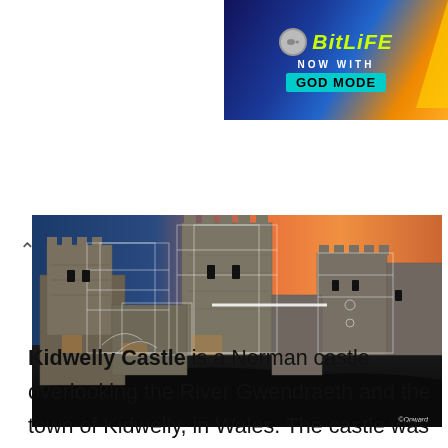[Figure (screenshot): BitLife advertisement banner with 'NOW WITH GOD MODE' text on dark blue and orange gradient background]
[Figure (photo): Kidwelly Castle at sunset with architectural overlay wireframe lines showing Norman castle structure, orange/pink sky in background]
Kidwelly Castle is a Norman castle overlooking the River Gwendraeth and the town of Kidwelly, in Wales. The castle was used as a location for the film Monty Python and the Holy Grail, appearing in the